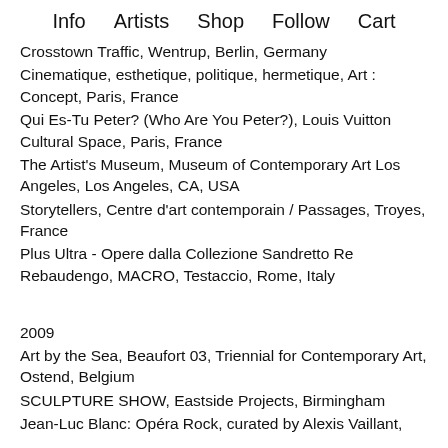Info   Artists   Shop   Follow   Cart
Crosstown Traffic, Wentrup, Berlin, Germany
Cinematique, esthetique, politique, hermetique, Art : Concept, Paris, France
Qui Es-Tu Peter? (Who Are You Peter?), Louis Vuitton Cultural Space, Paris, France
The Artist's Museum, Museum of Contemporary Art Los Angeles, Los Angeles, CA, USA
Storytellers, Centre d'art contemporain / Passages, Troyes, France
Plus Ultra - Opere dalla Collezione Sandretto Re Rebaudengo, MACRO, Testaccio, Rome, Italy
2009
Art by the Sea, Beaufort 03, Triennial for Contemporary Art, Ostend, Belgium
SCULPTURE SHOW, Eastside Projects, Birmingham
Jean-Luc Blanc: Opéra Rock, curated by Alexis Vaillant,